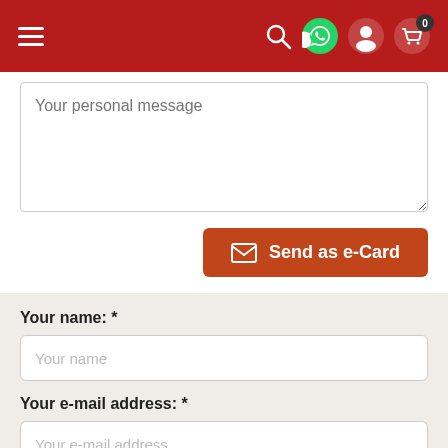[Figure (screenshot): Red navigation bar with hamburger menu on left, and search, WhatsApp, user, and cart icons on right with cart badge showing 0]
Your personal message
Send as e-Card
Your name: *
Your name
Your e-mail address: *
Your e-mail address
Retype your e-mail address: *
Your e-mail address